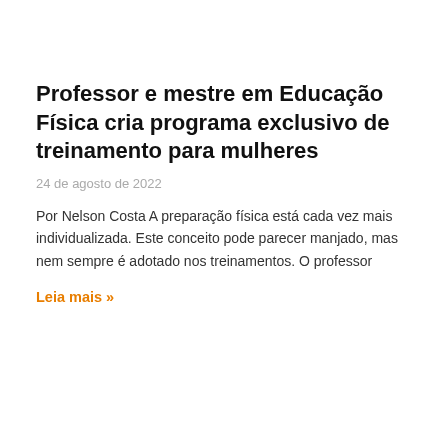Professor e mestre em Educação Física cria programa exclusivo de treinamento para mulheres
24 de agosto de 2022
Por Nelson Costa A preparação física está cada vez mais individualizada. Este conceito pode parecer manjado, mas nem sempre é adotado nos treinamentos. O professor
Leia mais »